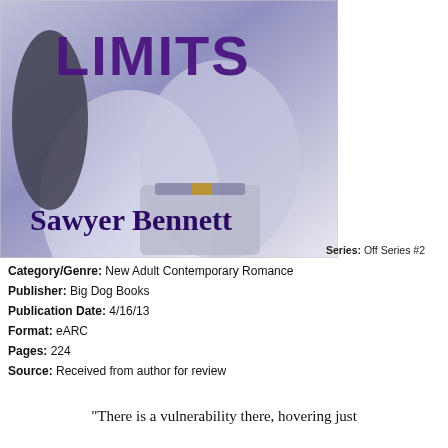[Figure (illustration): Book cover image showing 'LIMITS' text in large purple letters over a blue-purple toned photo of a shirtless male torso. Author name 'Sawyer Bennett' in large dark purple serif text at the bottom of the cover.]
Series: Off Series #2
Category/Genre: New Adult Contemporary Romance
Publisher: Big Dog Books
Publication Date: 4/16/13
Format: eARC
Pages: 224
Source: Received from author for review
“There is a vulnerability there, hovering just